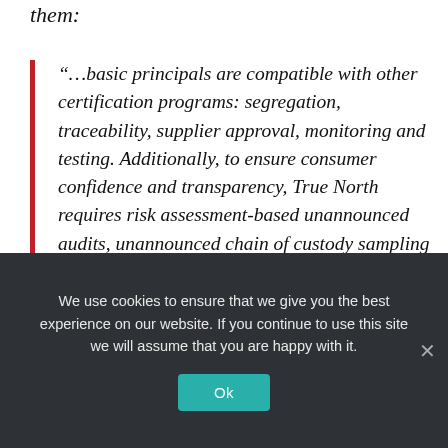them:
“…basic principals are compatible with other certification programs: segregation, traceability, supplier approval, monitoring and testing. Additionally, to ensure consumer confidence and transparency, True North requires risk assessment-based unannounced audits, unannounced chain of custody sampling and independent testing. It also requires manufacturers to perform routine
We use cookies to ensure that we give you the best experience on our website. If you continue to use this site we will assume that you are happy with it.